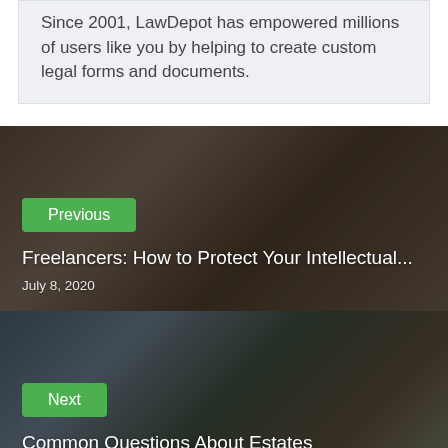Since 2001, LawDepot has empowered millions of users like you by helping to create custom legal forms and documents.
[Figure (photo): Dark background photo of a person with glasses sitting by a window, overlaid with a Previous navigation card for a blog post about freelancers and intellectual property]
Previous
Freelancers: How to Protect Your Intellectual...
July 8, 2020
[Figure (photo): Dark background photo of a woman sitting on the back of a car with luggage, overlaid with a Next navigation card for a blog post about common questions about estates]
Next
Common Questions About Estates
July 15, 2020